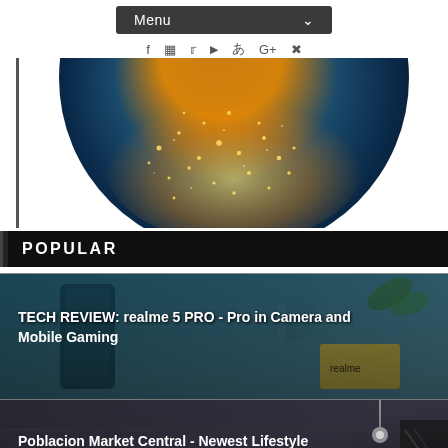Menu
[Figure (illustration): A glowing planet/globe with blue and golden sparkling light, partially visible at top, cropped at bottom]
POPULAR
[Figure (photo): Tech review article card with dark teal/blue background showing smartphone and realme branding. Title: TECH REVIEW: realme 5 PRO - Pro in Camera and Mobile Gaming]
[Figure (photo): Lifestyle article card with dark indoor market/restaurant scene. Title: Poblacion Market Central - Newest Lifestyle Destination in Davao]